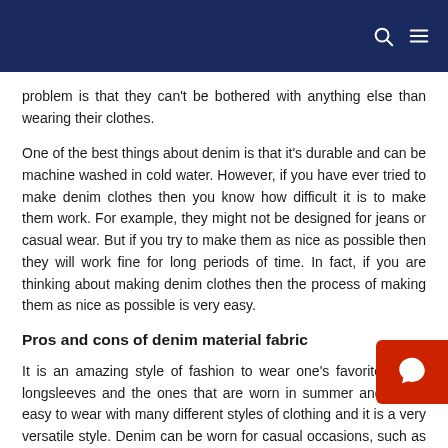problem is that they can't be bothered with anything else than wearing their clothes.
One of the best things about denim is that it's durable and can be machine washed in cold water. However, if you have ever tried to make denim clothes then you know how difficult it is to make them work. For example, they might not be designed for jeans or casual wear. But if you try to make them as nice as possible then they will work fine for long periods of time. In fact, if you are thinking about making denim clothes then the process of making them as nice as possible is very easy.
Pros and cons of denim material fabric
It is an amazing style of fashion to wear one's favorite j… longsleeves and the ones that are worn in summer and winte… easy to wear with many different styles of clothing and it is a very versatile style. Denim can be worn for casual occasions, such as going out with friends and other outdoor activities. The more time you spend with your jeans, the more comfortable you will feel in your jeans. When you are wearing them, they will add some extr…